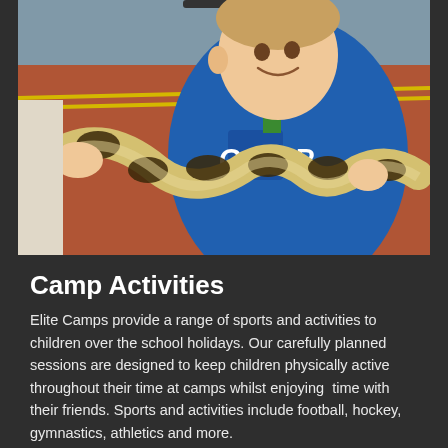[Figure (photo): A smiling young boy in a blue GAP hoodie holding a large ball python / patterned snake, outdoors on a sports court with orange/red surface and yellow lines visible.]
Camp Activities
Elite Camps provide a range of sports and activities to children over the school holidays. Our carefully planned sessions are designed to keep children physically active throughout their time at camps whilst enjoying  time with their friends. Sports and activities include football, hockey, gymnastics, athletics and more.